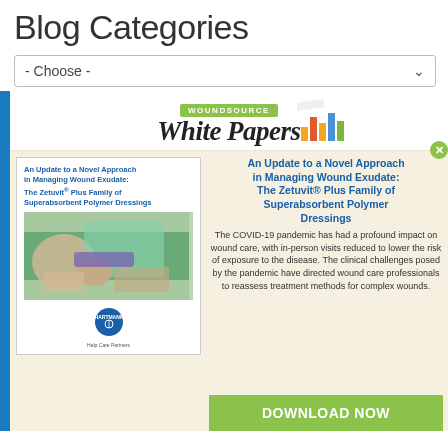Blog Categories
- Choose -
[Figure (screenshot): WoundSource White Papers logo with bar chart icon]
[Figure (photo): Medical white paper book cover: An Update to a Novel Approach in Managing Wound Exudate: The Zetuvit® Plus Family of Superabsorbent Polymer Dressings, showing a photo of wound care procedure with gloved hands, Hartmann logo]
An Update to a Novel Approach in Managing Wound Exudate: The Zetuvit® Plus Family of Superabsorbent Polymer Dressings
The COVID-19 pandemic has had a profound impact on wound care, with in-person visits reduced to lower the risk of exposure to the disease. The clinical challenges posed by the pandemic have directed wound care professionals to reassess treatment methods for complex wounds.
DOWNLOAD NOW